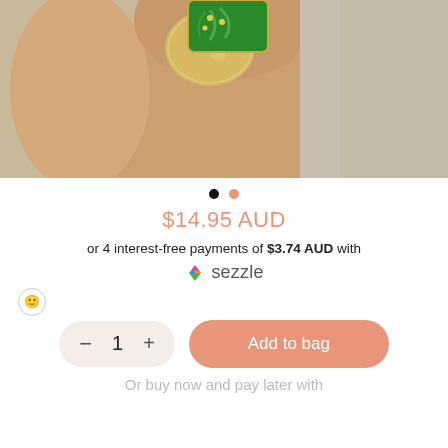[Figure (photo): Close-up photo of a hand holding a green enamel pin with a gold glittery nail, against a beige background. The pin appears to be a plant/leaf design in green and yellow.]
• •
$14.95 AUD
or 4 interest-free payments of $3.74 AUD with Sezzle
1
Add to bag
Or buy now and pay later with